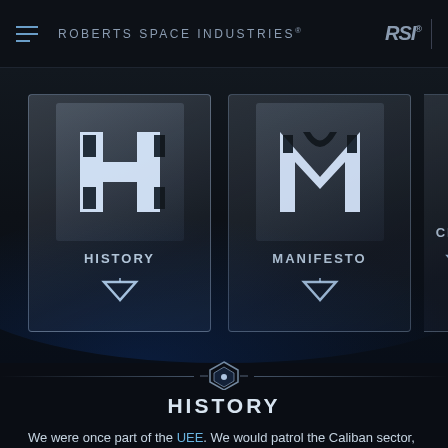ROBERTS SPACE INDUSTRIES®
[Figure (screenshot): Navigation card with H icon and label HISTORY, with downward pointing triangle arrow]
[Figure (screenshot): Navigation card with M icon and label MANIFESTO, with downward pointing triangle arrow]
[Figure (screenshot): Navigation card partially visible with label CHART and downward pointing triangle arrow]
[Figure (illustration): Decorative hexagonal divider with horizontal lines on a dark space background]
HISTORY
We were once part of the UEE. We would patrol the Caliban sector, keeping it free from enemies. Like so many other